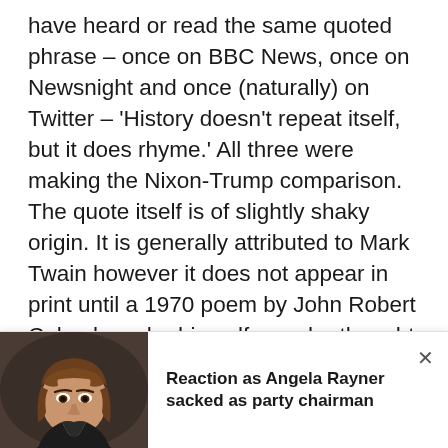have heard or read the same quoted phrase – once on BBC News, once on Newsnight and once (naturally) on Twitter – 'History doesn't repeat itself, but it does rhyme.' All three were making the Nixon-Trump comparison. The quote itself is of slightly shaky origin. It is generally attributed to Mark Twain however it does not appear in print until a 1970 poem by John Robert Colombo, who himself says he thought he read it in a book somewhere. Well, artistic licence and all that, let's move on. We have far greater crimes to discuss than the mere misdemeanour of a poet pulling a snappy observation from the lips of long-deceased
[Figure (photo): Photo of Angela Rayner, a woman with brown hair and bangs, looking at the camera with a serious expression, shown in a notification bar at the bottom of the page.]
Reaction as Angela Rayner sacked as party chairman